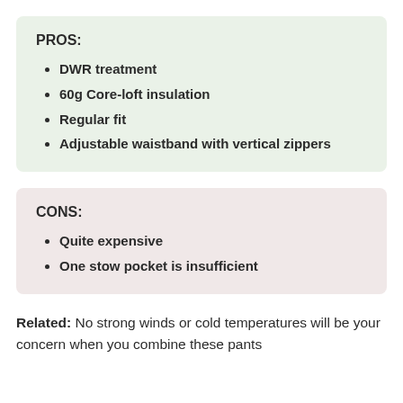PROS:
DWR treatment
60g Core-loft insulation
Regular fit
Adjustable waistband with vertical zippers
CONS:
Quite expensive
One stow pocket is insufficient
Related: No strong winds or cold temperatures will be your concern when you combine these pants